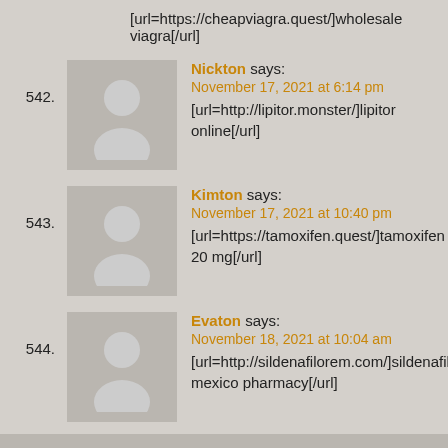[url=https://cheapviagra.quest/]wholesale viagra[/url]
542. Nickton says:
November 17, 2021 at 6:14 pm
[url=http://lipitor.monster/]lipitor online[/url]
543. Kimton says:
November 17, 2021 at 10:40 pm
[url=https://tamoxifen.quest/]tamoxifen 20 mg[/url]
544. Evaton says:
November 18, 2021 at 10:04 am
[url=http://sildenafilorem.com/]sildenafil mexico pharmacy[/url]